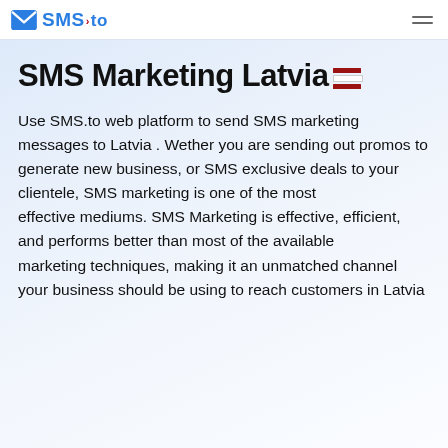SMS.to
SMS Marketing Latvia
Use SMS.to web platform to send SMS marketing messages to Latvia . Wether you are sending out promos to generate new business, or SMS exclusive deals to your clientele, SMS marketing is one of the most effective mediums. SMS Marketing is effective, efficient, and performs better than most of the available marketing techniques, making it an unmatched channel your business should be using to reach customers in Latvia